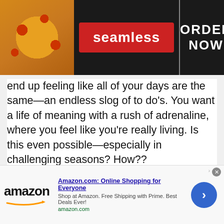[Figure (screenshot): Seamless food delivery advertisement banner with pizza image, red Seamless logo badge, and ORDER NOW button on dark background]
end up feeling like all of your days are the same—an endless slog of to do's. You want a life of meaning with a rush of adrenaline, where you feel like you're really living. Is this even possible—especially in challenging seasons? How??
Read this interesting list of Crazy facts that could be about anything as the name suggests the wide range of topics it covers. They are about animals, technology, environment or randomly anything you own. Search the internet
[Figure (screenshot): Amazon.com advertisement: Online Shopping for Everyone. Shop at Amazon. Free Shipping with Prime. Best Deals Ever! amazon.com]